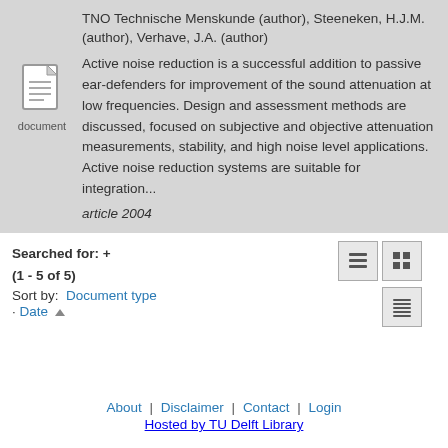TNO Technische Menskunde (author), Steeneken, H.J.M. (author), Verhave, J.A. (author)
Active noise reduction is a successful addition to passive ear-defenders for improvement of the sound attenuation at low frequencies. Design and assessment methods are discussed, focused on subjective and objective attenuation measurements, stability, and high noise level applications. Active noise reduction systems are suitable for integration...
article 2004
Searched for: +
(1 - 5 of 5)
Sort by: Document type
· Date ▲
About | Disclaimer | Contact | Login
Hosted by TU Delft Library